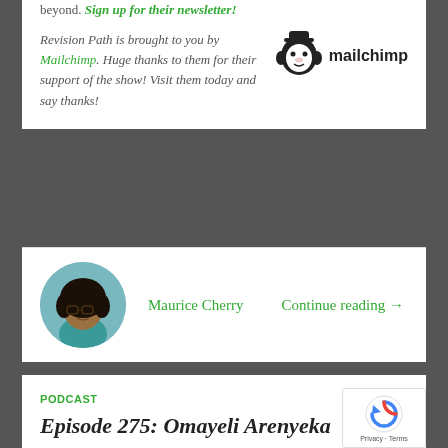beyond. Sign up for their newsletter!
Revision Path is brought to you by Mailchimp. Huge thanks to them for their support of the show! Visit them today and say thanks!
[Figure (logo): Mailchimp logo — monkey face icon with Mailchimp wordmark in black]
[Figure (photo): Circular headshot of Maurice Cherry]
Maurice Cherry
Continue reading →
PODCAST
Episode 275: Omayeli Arenyeka